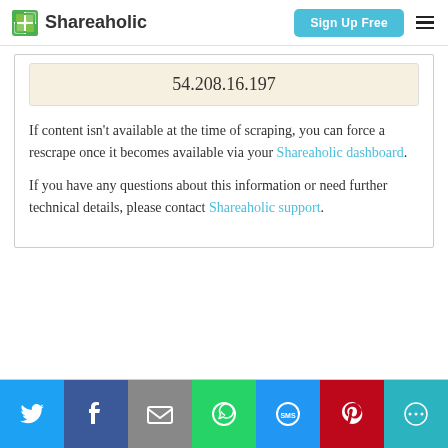Shareaholic | Sign Up Free
54.208.16.197
If content isn't available at the time of scraping, you can force a rescrape once it becomes available via your Shareaholic dashboard.
If you have any questions about this information or need further technical details, please contact Shareaholic support.
Social share buttons: Twitter, Facebook, Email, WhatsApp, SMS, Pinterest, More